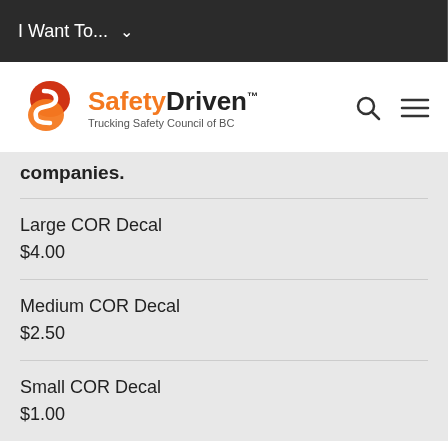I Want To...
[Figure (logo): SafetyDriven Trucking Safety Council of BC logo with orange and red stylized S icon]
companies.
Large COR Decal
$4.00
Medium COR Decal
$2.50
Small COR Decal
$1.00